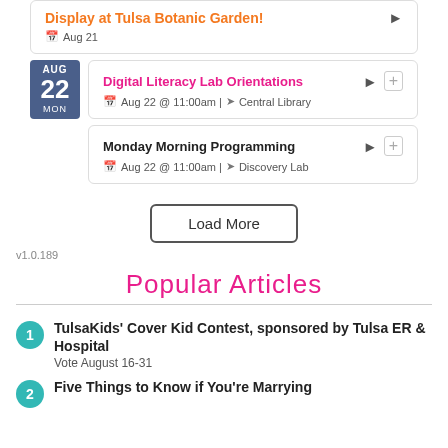Display at Tulsa Botanic Garden! Aug 21
Digital Literacy Lab Orientations Aug 22 @ 11:00am | Central Library
Monday Morning Programming Aug 22 @ 11:00am | Discovery Lab
Load More
v1.0.189
Popular Articles
TulsaKids' Cover Kid Contest, sponsored by Tulsa ER & Hospital
Vote August 16-31
Five Things to Know if You're Marrying